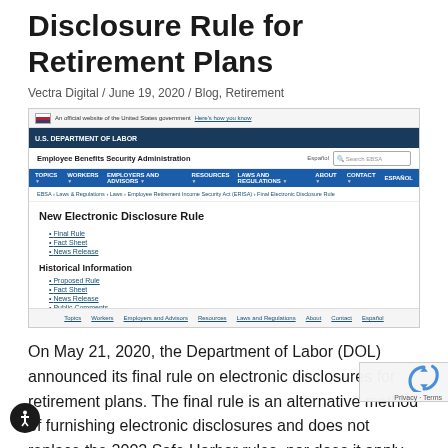Disclosure Rule for Retirement Plans
Vectra Digital / June 19, 2020 / Blog, Retirement
[Figure (screenshot): Screenshot of the U.S. Department of Labor Employee Benefits Security Administration website showing the 'New Electronic Disclosure Rule' page with links to Final Rule, Fact Sheet, News Release, and Historical Information section with links to Proposed Rule, Fact Sheet, News Release, Public Comments, Executive Order.]
On May 21, 2020, the Department of Labor (DOL) announced its final rule on electronic disclosures for retirement plans. The final rule is an alternative method of furnishing electronic disclosures and does not replace the 2002 Safe Harbor rules, nor does it apply to health plan disclosures. Under the